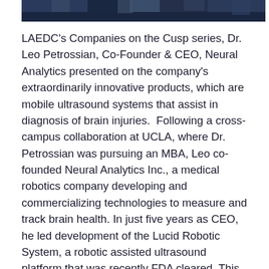[Figure (photo): Cropped bottom portion of a group photo showing people in dark clothing against a dark background]
LAEDC's Companies on the Cusp series, Dr. Leo Petrossian, Co-Founder & CEO, Neural Analytics presented on the company's extraordinarily innovative products, which are mobile ultrasound systems that assist in diagnosis of brain injuries. Following a cross-campus collaboration at UCLA, where Dr. Petrossian was pursuing an MBA, Leo co-founded Neural Analytics Inc., a medical robotics company developing and commercializing technologies to measure and track brain health. In just five years as CEO, he led development of the Lucid Robotic System, a robotic assisted ultrasound platform that was recently FDA cleared. This technology integrates ultrasound, robotics and machine learning to assist clinicians to non-invasively monitor a patient's brain blood flow characteristics and provide actionable information to diagnose a variety of neurological disorders. The